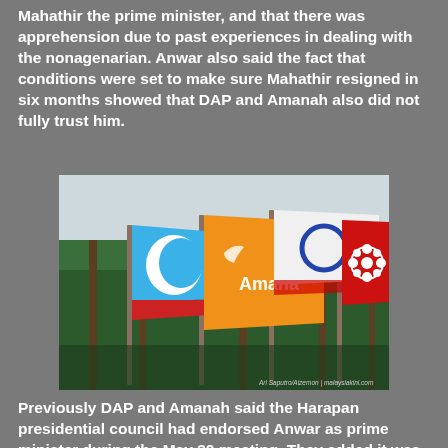Mahathir the prime minister, and that there was apprehension due to past experiences in dealing with the nonagenarian. Anwar also said the fact that conditions were set to make sure Mahathir resigned in six months showed that DAP and Amanah also did not fully trust him.
[Figure (photo): Political party flags flying from poles against a backdrop of palm trees — includes a blue PKR flag with white crescent, an orange Amanah flag, a white flag with blue ring symbol (DAP), and a red flag with white flower emblem (Gerakan or UMNO), outdoors in Malaysia.]
Previously DAP and Amanah said the Harapan presidential council had endorsed Anwar as prime minister during the May 30 meeting. They added it was also agreed that the fallback was for Mahathir to become prime minister if Anwar couldn't get the numbers to form the government.